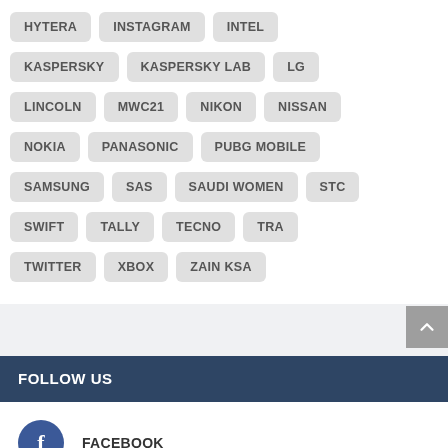HYTERA
INSTAGRAM
INTEL
KASPERSKY
KASPERSKY LAB
LG
LINCOLN
MWC21
NIKON
NISSAN
NOKIA
PANASONIC
PUBG MOBILE
SAMSUNG
SAS
SAUDI WOMEN
STC
SWIFT
TALLY
TECNO
TRA
TWITTER
XBOX
ZAIN KSA
FOLLOW US
FACEBOOK